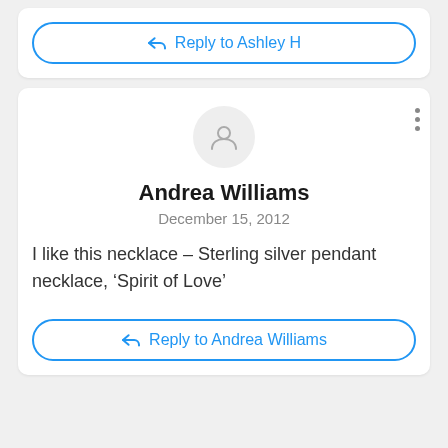[Figure (screenshot): Reply to Ashley H button with blue border and blue reply arrow icon]
[Figure (screenshot): User comment card for Andrea Williams dated December 15, 2012, with avatar placeholder, three-dot menu, review text, and Reply to Andrea Williams button]
Andrea Williams
December 15, 2012
I like this necklace – Sterling silver pendant necklace, ‘Spirit of Love’